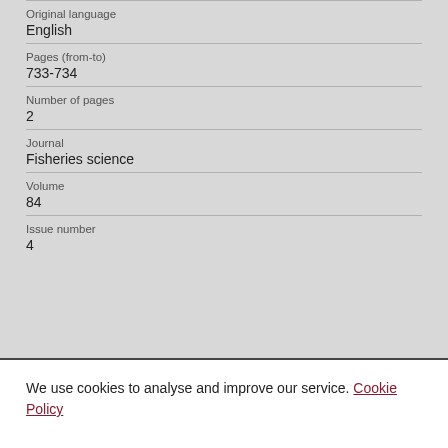Original language
English
Pages (from-to)
733-734
Number of pages
2
Journal
Fisheries science
Volume
84
Issue number
4
We use cookies to analyse and improve our service. Cookie Policy